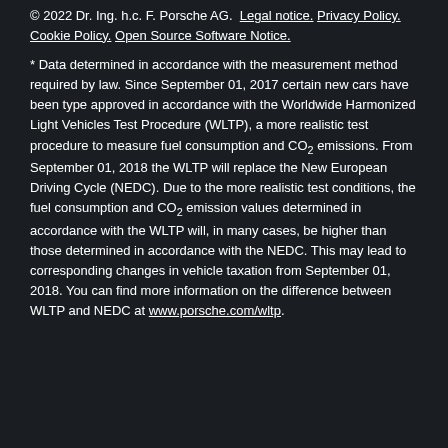© 2022 Dr. Ing. h.c. F. Porsche AG. Legal notice. Privacy Policy. Cookie Policy. Open Source Software Notice.
* Data determined in accordance with the measurement method required by law. Since September 01, 2017 certain new cars have been type approved in accordance with the Worldwide Harmonized Light Vehicles Test Procedure (WLTP), a more realistic test procedure to measure fuel consumption and CO₂ emissions. From September 01, 2018 the WLTP will replace the New European Driving Cycle (NEDC). Due to the more realistic test conditions, the fuel consumption and CO₂ emission values determined in accordance with the WLTP will, in many cases, be higher than those determined in accordance with the NEDC. This may lead to corresponding changes in vehicle taxation from September 01, 2018. You can find more information on the difference between WLTP and NEDC at www.porsche.com/wltp.